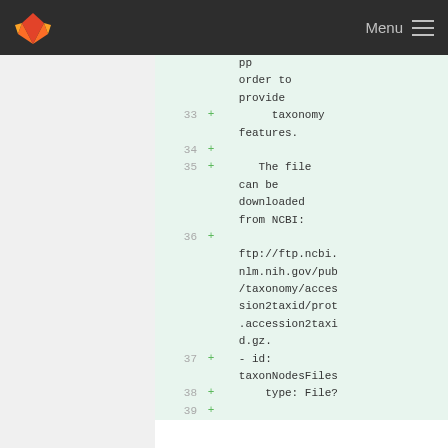GitLab Menu
[Figure (screenshot): GitLab diff view showing added lines 33-39 of a YAML configuration file with taxonomy-related content including a URL to ftp://ftp.ncbi.nlm.nih.gov/pub/taxonomy/accession2taxid/prot.accession2taxid.gz and fields taxonNodesFiles and type: File?]